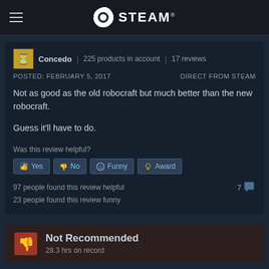STEAM
Concedo | 225 products in account | 17 reviews
POSTED: FEBRUARY 5, 2017   DIRECT FROM STEAM
Not as good as the old robocraft but much better than the new robocraft.

Guess it'll have to do.
Was this review helpful?
Yes  No  Funny  Award
97 people found this review helpful
23 people found this review funny
7 comments
Not Recommended
28.3 hrs on record